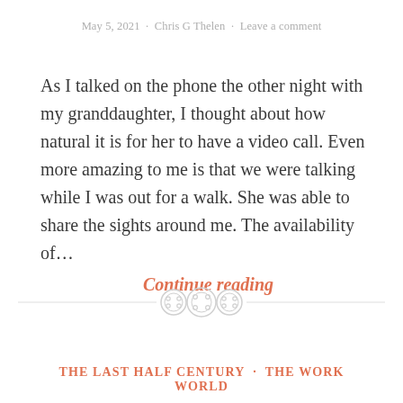May 5, 2021 · Chris G Thelen · Leave a comment
As I talked on the phone the other night with my granddaughter, I thought about how natural it is for her to have a video call. Even more amazing to me is that we were talking while I was out for a walk. She was able to share the sights around me. The availability of…
Continue reading
[Figure (illustration): Three decorative button icons used as a section divider, centered between two horizontal lines]
THE LAST HALF CENTURY · THE WORK WORLD